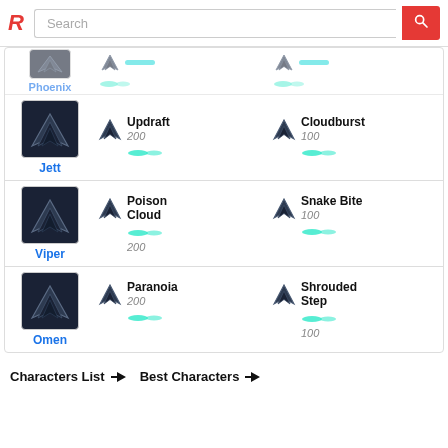Search
| Character | Ability 1 | Ability 2 |
| --- | --- | --- |
| Phoenix | — | — |
| Jett | Updraft 200 | Cloudburst 100 |
| Viper | Poison Cloud 200 | Snake Bite 100 |
| Omen | Paranoia 200 | Shrouded Step 100 |
Characters List → Best Characters →